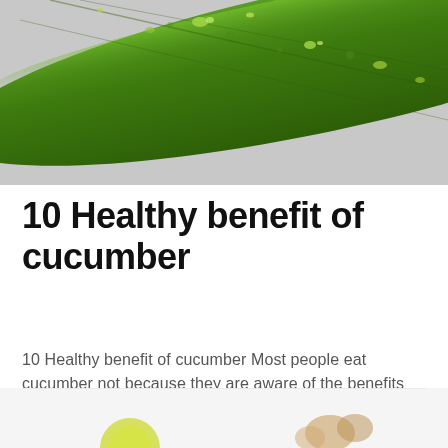[Figure (photo): Close-up photo of a green cucumber with water droplets on its surface, diagonal composition against a light grey background]
10 Healthy benefit of cucumber
10 Healthy benefit of cucumber Most people eat cucumber not because they are aware of the benefits it...
[Figure (photo): Partial bottom image showing food items, partially cropped]